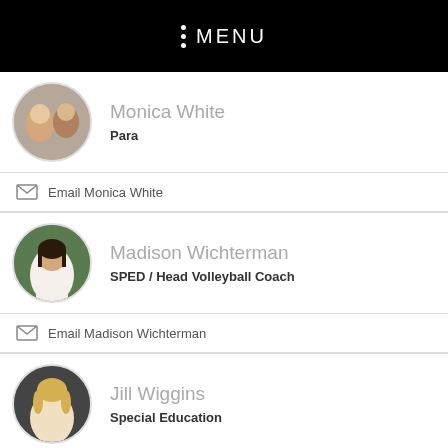MENU
Monica White
Para
Email Monica White
Madison Wichterman
SPED / Head Volleyball Coach
Email Madison Wichterman
Jill Wiggins
Special Education